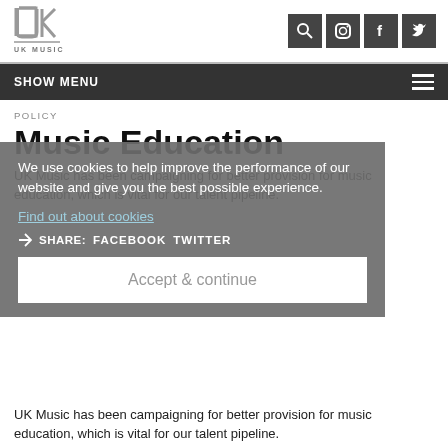[Figure (logo): UK Music logo with stylized UK letters and 'UK MUSIC' text below]
SHOW MENU
POLICY
Music Education
UK Music has been campaigning for better provision for music education, which is vital for our talent pipeline.
We use cookies to help improve the performance of our website and give you the best possible experience.
Find out about cookies
SHARE: FACEBOOK TWITTER
Accept & continue
UK Music has been campaigning for better provision for music education, which is vital for our talent pipeline.